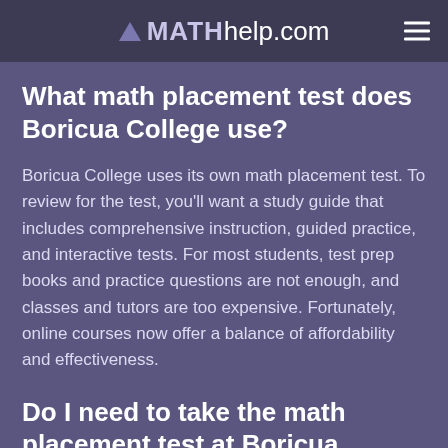MATHhelp.com
What math placement test does Boricua College use?
Boricua College uses its own math placement test. To review for the test, you'll want a study guide that includes comprehensive instruction, guided practice, and interactive tests. For most students, test prep books and practice questions are not enough, and classes and tutors are too expensive. Fortunately, online courses now offer a balance of affordability and effectiveness.
Do I need to take the math placement test at Boricua College?